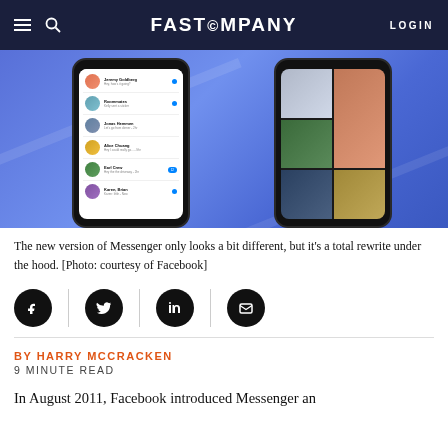FAST COMPANY | LOGIN
[Figure (photo): Two smartphone mockups showing the Facebook Messenger app interface on a blue gradient background. Left phone shows a messages list view with contacts; right phone shows a photo grid view.]
The new version of Messenger only looks a bit different, but it's a total rewrite under the hood. [Photo: courtesy of Facebook]
BY HARRY MCCRACKEN
9 MINUTE READ
In August 2011, Facebook introduced Messenger an